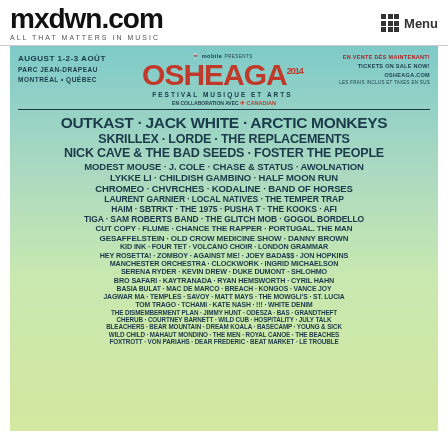mxdwn.com — ALL THAT MATTERS IN MUSIC | Menu
[Figure (infographic): Osheaga 2014 music festival poster with full lineup. August 1-2-3 Août, Parc Jean-Drapeau, Montréal Québec. Presented by Virgin Mobile. En vente dès maintenant! Tickets on sale now! osheaga.com. Lineup includes: Outkast, Jack White, Arctic Monkeys, Skrillex, Lorde, The Replacements, Nick Cave & The Bad Seeds, Foster The People, Modest Mouse, J. Cole, Chase & Status, Awolnation, Lykke Li, Childish Gambino, Half Moon Run, Chromeo, Chvrches, Kodaline, Band Of Horses, Laurent Garnier, Local Natives, The Temper Trap, Haim, Sbtrkt, The 1975, Pusha T, The Kooks, AFI, Tiga, Sam Roberts Band, The Glitch Mob, Gogol Bordello, Cut Copy, Flume, Chance The Rapper, Portugal. The Man, Gesaffelstein, Old Crow Medicine Show, Danny Brown, Kid Ink, Four Tet, Volcano Choir, London Grammar, Hey Rosetta!, Zomboy, Against Me!, Joey Bada$$, Jon Hopkins, Manchester Orchestra, Clockwork, Ingrid Michaelson, Serena Ryder, Kevin Drew, Duke Dumont, Shlohmo, Bro Safari, Kaytranada, Ryan Hemsworth, Cyril Hahn, Basia Bulat, Mac De Marco, Breach, Kongos, Vance Joy, Jagwar Ma, Temples, Savoy, Matt Mays, The Mowgli's, St. Lucia, Tom Trago, Tchami, Kate Nash, !!!, White Denim, The Dismemberment Plan, Jimmy Hunt, Odesza, Bas, Grandtheft, Cherub, Courtney Barnett, Wild Cub, Hospitality, July Talk, Bleachers, Bear Mountain, Dream Koala, Basecamp, Young & Sick, Wild Child, Mahaut Mondino, The Men, Royal Canoe, The Beaches, Foxtrott, Von Pariahs, Dear Frederic, Beat Market, Le Trouble]